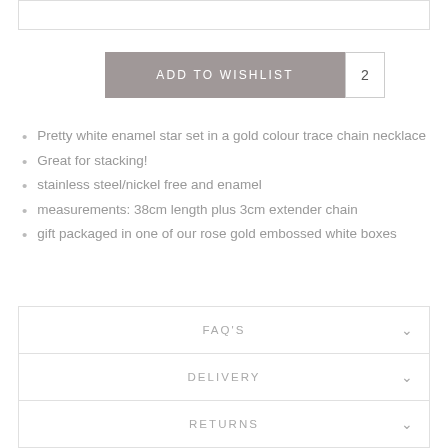ADD TO WISHLIST  2
Pretty white enamel star set in a gold colour trace chain necklace
Great for stacking!
stainless steel/nickel free and enamel
measurements: 38cm length plus 3cm extender chain
gift packaged in one of our rose gold embossed white boxes
FAQ'S
DELIVERY
RETURNS